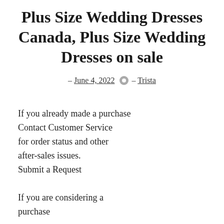Plus Size Wedding Dresses Canada, Plus Size Wedding Dresses on sale
– June 4, 2022  – Trista
If you already made a purchase Contact Customer Service for order status and other after-sales issues. Submit a Request
If you are considering a purchase